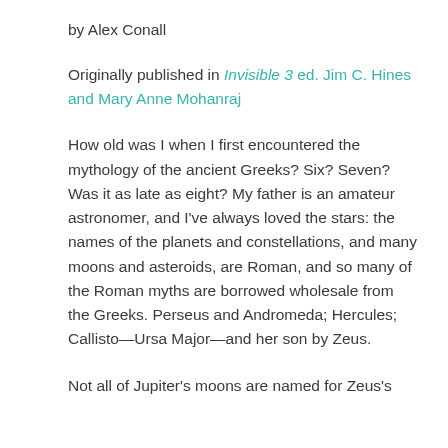by Alex Conall
Originally published in Invisible 3 ed. Jim C. Hines and Mary Anne Mohanraj
How old was I when I first encountered the mythology of the ancient Greeks? Six? Seven? Was it as late as eight? My father is an amateur astronomer, and I've always loved the stars: the names of the planets and constellations, and many moons and asteroids, are Roman, and so many of the Roman myths are borrowed wholesale from the Greeks. Perseus and Andromeda; Hercules; Callisto—Ursa Major—and her son by Zeus.
Not all of Jupiter's moons are named for Zeus's